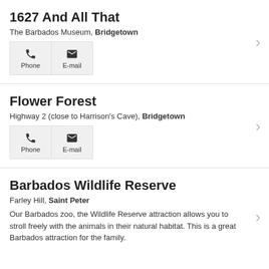1627 And All That
The Barbados Museum, Bridgetown
Flower Forest
Highway 2 (close to Harrison's Cave), Bridgetown
Barbados Wildlife Reserve
Farley Hill, Saint Peter
Our Barbados zoo, the Wildlife Reserve attraction allows you to stroll freely with the animals in their natural habitat. This is a great Barbados attraction for the family.